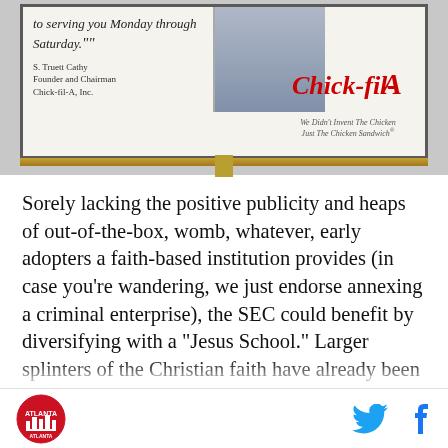[Figure (photo): A Chick-fil-A billboard advertisement featuring a quote attributed to S. Truett Cathy, Founder and Chairman of Chick-fil-A, Inc., with the Chick-fil-A logo and tagline 'We Didn't Invent The Chicken, Just The Chicken Sandwich', and a photo of a man in a suit.]
Sorely lacking the positive publicity and heaps of out-of-the-box, womb, whatever, early adopters a faith-based institution provides (in case you're wandering, we just endorse annexing a criminal enterprise), the SEC could benefit by diversifying with a "Jesus School." Larger splinters of the Christian faith have already been catered to (Mormons and BYU, Catholics and Notre Dame, agnostics and Oklahoma), yet this
Atlanta logo | Twitter icon | Facebook icon